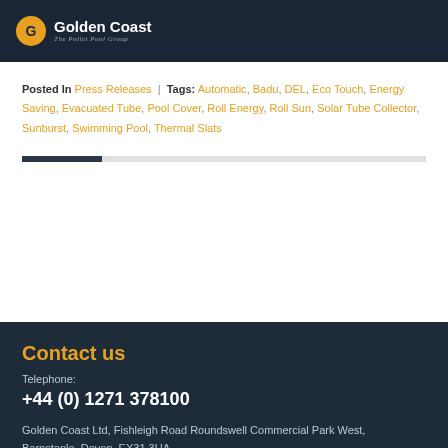Golden Coast — The Pollet Pool Group
Posted In Press Releases | Tags: Automatic, Badu, DEL, Eco Touch, Energy Saving, Evacuated Tube, Pool Cover, Roll Energy, Roll Sun, Solar Tube Collector, Sunburst, Swimming Pool, Thermal Slats
Contact us
Telephone:
+44 (0) 1271 378100
Golden Coast Ltd, Fishleigh Road Roundswell Commercial Park West, Barnstaple, Devon, EX31 3UA